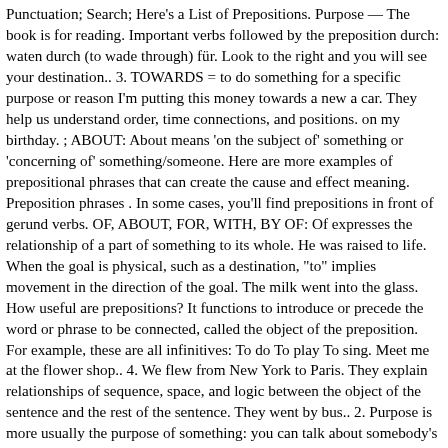Punctuation; Search; Here's a List of Prepositions. Purpose — The book is for reading. Important verbs followed by the preposition durch: waten durch (to wade through) für. Look to the right and you will see your destination.. 3. TOWARDS = to do something for a specific purpose or reason I'm putting this money towards a new a car. They help us understand order, time connections, and positions. on my birthday. ; ABOUT: About means 'on the subject of' something or 'concerning of' something/someone. Here are more examples of prepositional phrases that can create the cause and effect meaning. Preposition phrases . In some cases, you'll find prepositions in front of gerund verbs. OF, ABOUT, FOR, WITH, BY OF: Of expresses the relationship of a part of something to its whole. He was raised to life. When the goal is physical, such as a destination, "to" implies movement in the direction of the goal. The milk went into the glass. How useful are prepositions? It functions to introduce or precede the word or phrase to be connected, called the object of the preposition. For example, these are all infinitives: To do To play To sing. Meet me at the flower shop.. 4. We flew from New York to Paris. They explain relationships of sequence, space, and logic between the object of the sentence and the rest of the sentence. They went by bus.. 2. Purpose is more usually the purpose of something: you can talk about somebody's purpose but that is more formal. For usually tells us about the use of something, a reason or purpose. ** Showing WHAT FOR or PURPOSE FOR = the express purpose This machine is used for making computer screens and televisions. Below are some of the prepositions of direction that you are likely to encounter in English: To. The word or phrase that the preposition introduces is called the object of the prepositions. Here's a List of Prepositions. I saw Christmas down combined WITH, the word...